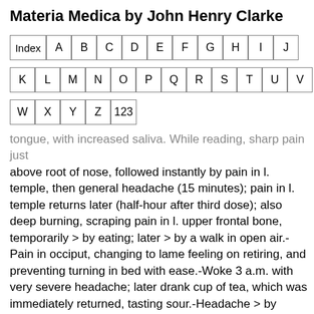Materia Medica by John Henry Clarke
Index A B C D E F G H I J
K L M N O P Q R S T U V
W X Y Z 123
tongue, with increased saliva. While reading, sharp pain just above root of nose, followed instantly by pain in l. temple, then general headache (15 minutes); pain in l. temple returns later (half-hour after third dose); also deep burning, scraping pain in l. upper frontal bone, temporarily > by eating; later > by a walk in open air.-Pain in occiput, changing to lame feeling on retiring, and preventing turning in bed with ease.-Woke 3 a.m. with very severe headache; later drank cup of tea, which was immediately returned, tasting sour.-Headache > by magnetic passe.-(Severe frontal headache during menses speedily cured with 1m.).-(Congestion of blood to head with sensation of great fulness, 8 a.m.)